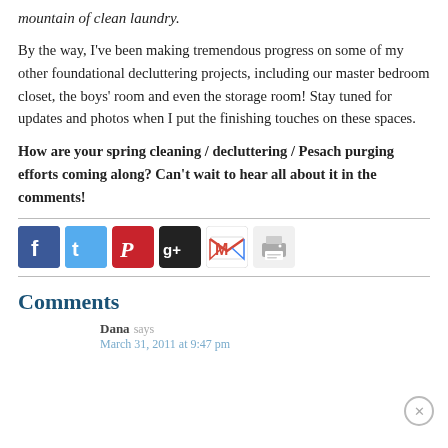mountain of clean laundry.
By the way, I've been making tremendous progress on some of my other foundational decluttering projects, including our master bedroom closet, the boys' room and even the storage room! Stay tuned for updates and photos when I put the finishing touches on these spaces.
How are your spring cleaning / decluttering / Pesach purging efforts coming along? Can't wait to hear all about it in the comments!
[Figure (infographic): Social sharing buttons: Facebook, Twitter, Pinterest, Google+, Gmail/Email, Print]
Comments
Dana says
March 31, 2011 at 9:47 pm